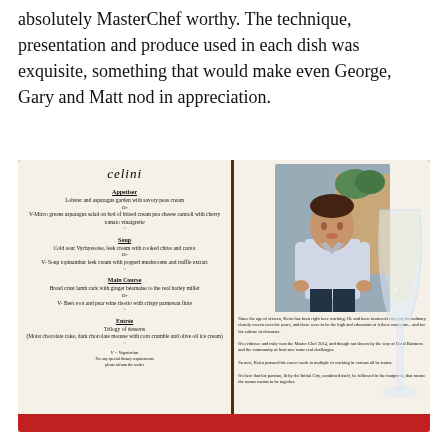absolutely MasterChef worthy. The technique, presentation and produce used in each dish was exquisite, something that would make even George, Gary and Matt nod in appreciation.
[Figure (photo): A photograph of an open restaurant menu from Celini (Grand Hyatt) showing menu courses including Appetiser, Soup, Main Course, and Entree sections, alongside a photo of a male chef in white uniform standing outdoors, and a champagne glass in the foreground.]